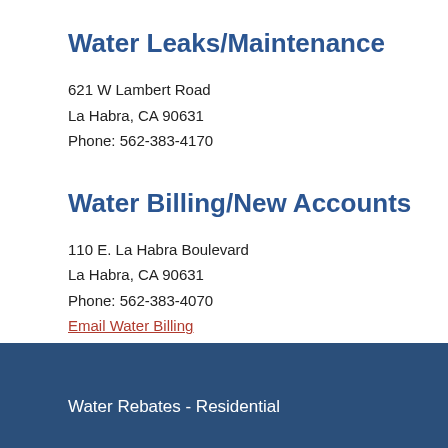Water Leaks/Maintenance
621 W Lambert Road
La Habra, CA 90631
Phone: 562-383-4170
Water Billing/New Accounts
110 E. La Habra Boulevard
La Habra, CA 90631
Phone: 562-383-4070
Email Water Billing
Water Rebates - Residential